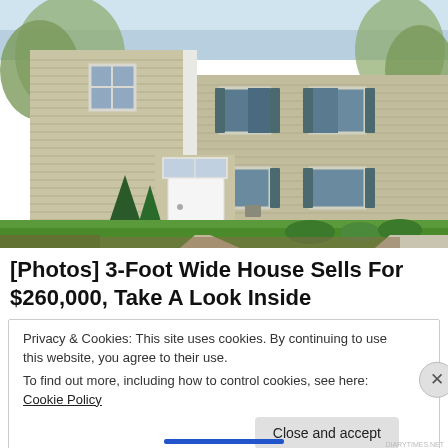[Figure (photo): Exterior photo of a two-story beige/tan sided house with blue shutters, white front door with transom window, evergreen shrubs, and a green lawn on a sunny day.]
[Photos] 3-Foot Wide House Sells For $260,000, Take A Look Inside
Privacy & Cookies: This site uses cookies. By continuing to use this website, you agree to their use.
To find out more, including how to control cookies, see here: Cookie Policy